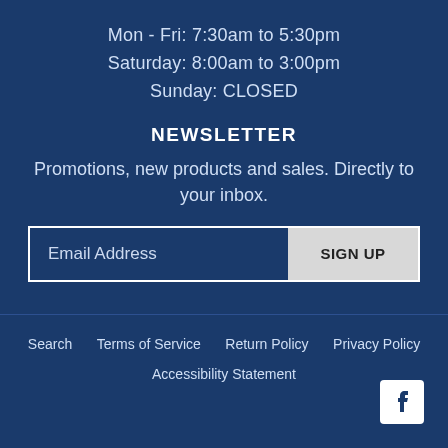Mon - Fri: 7:30am to 5:30pm
Saturday: 8:00am to 3:00pm
Sunday: CLOSED
NEWSLETTER
Promotions, new products and sales. Directly to your inbox.
Email Address   SIGN UP
Search   Terms of Service   Return Policy   Privacy Policy   Accessibility Statement